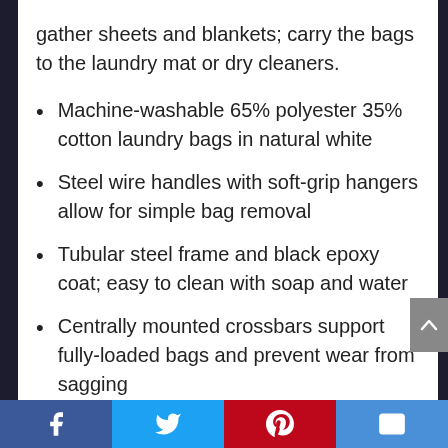gather sheets and blankets; carry the bags to the laundry mat or dry cleaners.
Machine-washable 65% polyester 35% cotton laundry bags in natural white
Steel wire handles with soft-grip hangers allow for simple bag removal
Tubular steel frame and black epoxy coat; easy to clean with soap and water
Centrally mounted crossbars support fully-loaded bags and prevent wear from sagging
Four 2-inch wheels glide easily; two lock when needed